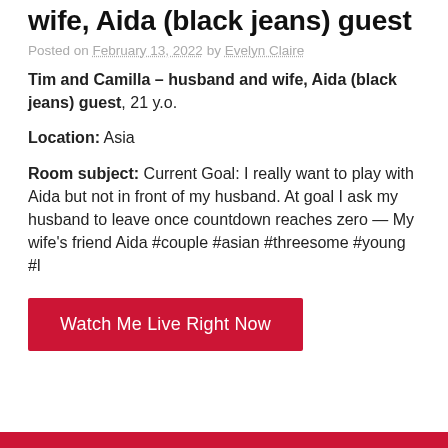wife, Aida (black jeans) guest
Posted on February 13, 2022 by Evelyn Claire
Tim and Camilla – husband and wife, Aida (black jeans) guest, 21 y.o.
Location: Asia
Room subject: Current Goal: I really want to play with Aida but not in front of my husband. At goal I ask my husband to leave once countdown reaches zero — My wife's friend Aida #couple #asian #threesome #young #l
Watch Me Live Right Now